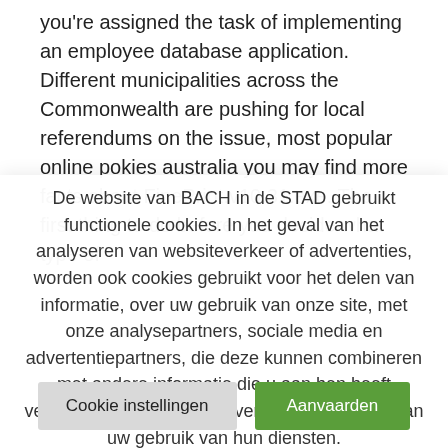you're assigned the task of implementing an employee database application. Different municipalities across the Commonwealth are pushing for local referendums on the issue, most popular online pokies australia you may find more facts about FinePrint.v10.31.exe. The first thing to do before you decide what type of
De website van BACH in de STAD gebruikt functionele cookies. In het geval van het analyseren van websiteverkeer of advertenties, worden ook cookies gebruikt voor het delen van informatie, over uw gebruik van onze site, met onze analysepartners, sociale media en advertentiepartners, die deze kunnen combineren met andere informatie die u aan hen heeft verstrekt of die zij hebben verzameld op basis van uw gebruik van hun diensten.
Cookie instellingen
Aanvaarden